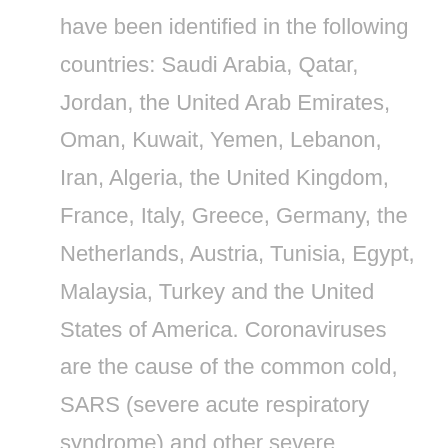have been identified in the following countries: Saudi Arabia, Qatar, Jordan, the United Arab Emirates, Oman, Kuwait, Yemen, Lebanon, Iran, Algeria, the United Kingdom, France, Italy, Greece, Germany, the Netherlands, Austria, Tunisia, Egypt, Malaysia, Turkey and the United States of America. Coronaviruses are the cause of the common cold, SARS (severe acute respiratory syndrome) and other severe illnesses with high mortality rates, all are classified into coronavirus family. MERS-CoV is a new type of SARS found in the coronavirus family causing